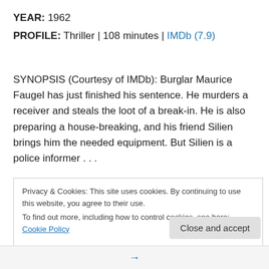YEAR: 1962
PROFILE: Thriller | 108 minutes | IMDb (7.9)
SYNOPSIS (Courtesy of IMDb): Burglar Maurice Faugel has just finished his sentence. He murders a receiver and steals the loot of a break-in. He is also preparing a house-breaking, and his friend Silien brings him the needed equipment. But Silien is a police informer . . .
Privacy & Cookies: This site uses cookies. By continuing to use this website, you agree to their use.
To find out more, including how to control cookies, see here: Cookie Policy
Close and accept